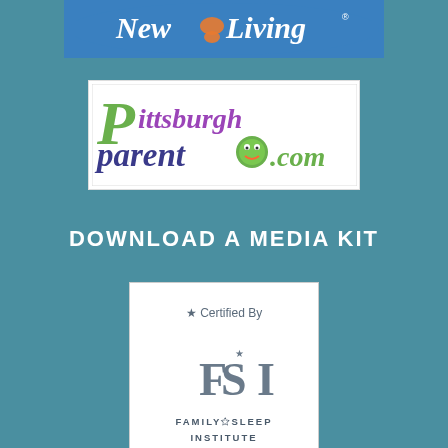[Figure (logo): New Living logo — cursive white text on blue background with a crescent/turtle graphic]
[Figure (logo): PittsburghParent.com logo — stylized italic text with green P, purple Pittsburgh, dark blue parent, caterpillar graphic, and .com in green on white background]
DOWNLOAD A MEDIA KIT
[Figure (logo): Family Sleep Institute certified badge — white rectangle with star, Certified By text, FSI crescent moon letters, and FAMILY*SLEEP INSTITUTE text]